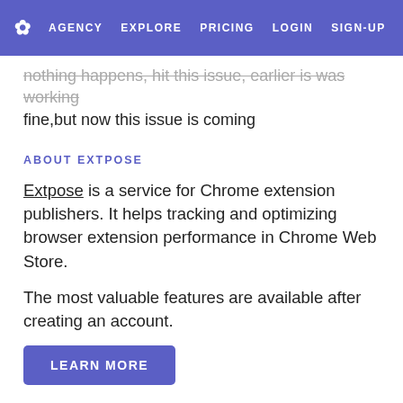AGENCY   EXPLORE   PRICING   LOGIN   SIGN-UP
nothing happens, hit this issue, earlier is was working fine,but now this issue is coming
ABOUT EXTPOSE
Extpose is a service for Chrome extension publishers. It helps tracking and optimizing browser extension performance in Chrome Web Store.
The most valuable features are available after creating an account.
LEARN MORE
If you are not an extension developer and want to install this extension please proceed to Chrome Web Store